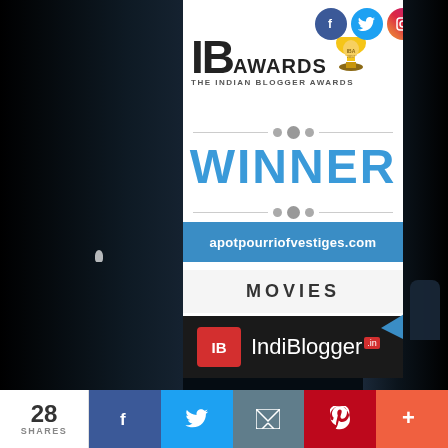[Figure (infographic): Indian Blogger Awards 2017 Winner badge/certificate for apotpourriofvestiges.com in the Movies category, presented by IndiBlogger. Features a white card with IB Awards logo, social media icons, decorative dots, WINNER text in blue, the website URL on a blue banner, MOVIES category label, and IndiBlogger logo at bottom. Blue ribbon in corner. Dark space/moon background on left and right sides.]
28 SHARES
[Figure (infographic): Social share bar with Facebook, Twitter, Email, Pinterest, and More buttons. Shows 28 shares count.]